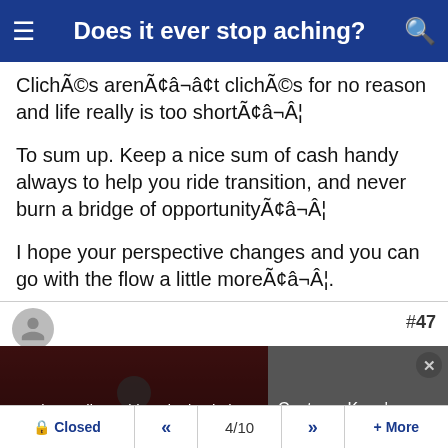Does it ever stop aching?
ClichÃ©s arenÃ¢â¬â¢t clichÃ©s for no reason and life really is too shortÃ¢â¬Â¦
To sum up. Keep a nice sum of cash handy always to help you ride transition, and never burn a bridge of opportunityÃ¢â¬Â¦
I hope your perspective changes and you can go with the flow a little moreÃ¢â¬Â¦.
#47
[Figure (screenshot): Video player showing a media error overlay: 'The media could not be loaded, either because the server or network failed or because the format is not supported.' alongside a video thumbnail of a presenter, with a sidebar showing text: 'Conte on Kane's mark, Richardson a snowboating and Spurs' schedule']
Closed  «  4/10  »  + More